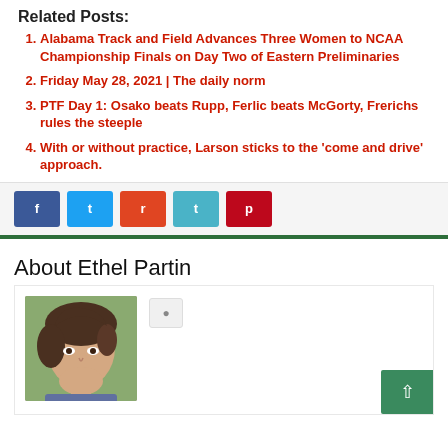Related Posts:
Alabama Track and Field Advances Three Women to NCAA Championship Finals on Day Two of Eastern Preliminaries
Friday May 28, 2021 | The daily norm
PTF Day 1: Osako beats Rupp, Ferlic beats McGorty, Frerichs rules the steeple
With or without practice, Larson sticks to the 'come and drive' approach.
[Figure (other): Social share buttons: Facebook (dark blue), Twitter (light blue), Reddit (orange-red), Telegram (teal), Pinterest (red)]
About Ethel Partin
[Figure (photo): Headshot photo of Ethel Partin, a woman with short dark hair, smiling slightly, appears to be in her 30s-40s]